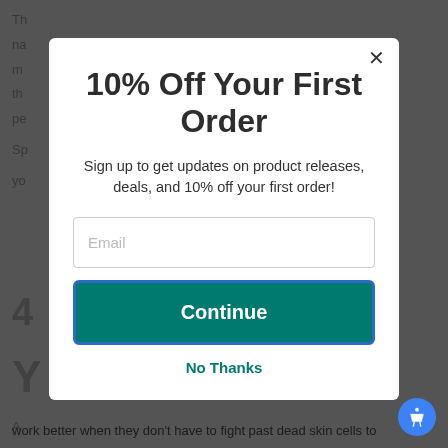Th... na... m... th... pe...
Sp...
yo...
10% Off Your First Order
Sign up to get updates on product releases, deals, and 10% off your first order!
Email
Continue
No Thanks
A...
As...
work better when they don't have to fight past dead skin cells to